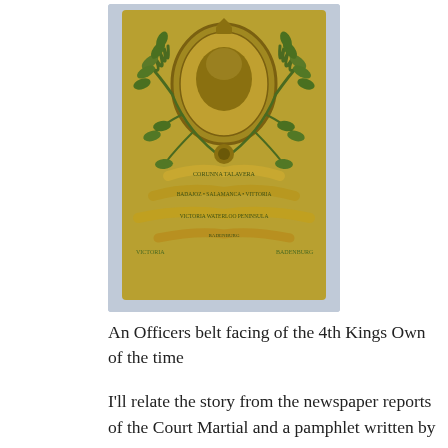[Figure (photo): A close-up photograph of an officer's belt facing (buckle plate) of the 4th Kings Own regiment. The brass/gold-coloured plate features a central oval medallion with a lion, surrounded by ornate laurel branches, and scrolling banners bearing battle honour inscriptions including words such as Corunna, Talavera, Badajoz, Salamanca, Victoria, Waterloo, Peninsula, and Badenburg.]
An Officers belt facing of the 4th Kings Own of the time
I'll relate the story from the newspaper reports of the Court Martial and a pamphlet written by Lieutenant Harris's father in defence of their